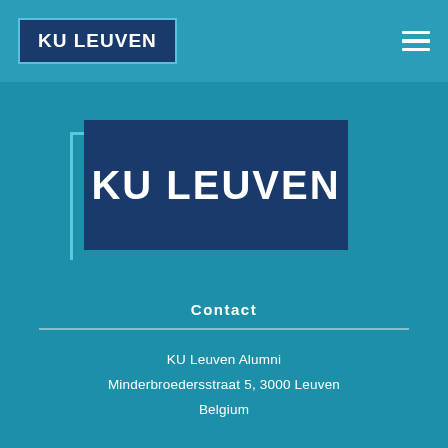KU LEUVEN
[Figure (logo): KU Leuven logo — white bold text on dark navy blue background with light blue corner accent lines]
Contact
KU Leuven Alumni
Minderbroedersstraat 5, 3000 Leuven
Belgium